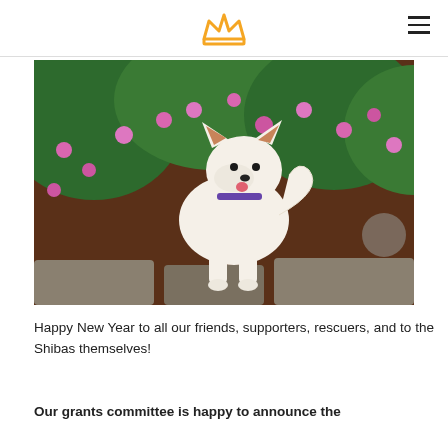[Crown logo icon] [Hamburger menu]
[Figure (photo): A white Shiba Inu puppy with brown-tipped ears and a purple collar standing on stone pavers in front of lush green foliage with pink flowers and reddish-brown mulch.]
Happy New Year to all our friends, supporters, rescuers, and to the Shibas themselves!
Our grants committee is happy to announce the